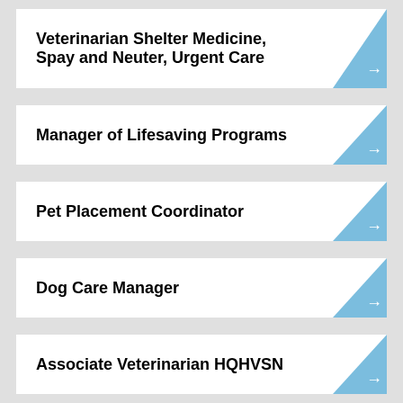Veterinarian Shelter Medicine, Spay and Neuter, Urgent Care
Manager of Lifesaving Programs
Pet Placement Coordinator
Dog Care Manager
Associate Veterinarian HQHVSN